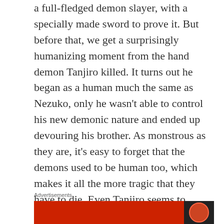a full-fledged demon slayer, with a specially made sword to prove it. But before that, we get a surprisingly humanizing moment from the hand demon Tanjiro killed. It turns out he began as a human much the same as Nezuko, only he wasn't able to control his new demonic nature and ended up devouring his brother. As monstrous as they are, it's easy to forget that the demons used to be human too, which makes it all the more tragic that they have to die. Even Tanjiro seems to recognize this, holding the demon's hand and saying a prayer as he dies. The demon's death ultimately feels more sad than triumphant, a feeling I didn't expect given how easy he was to hate before. If it can maintain this kind of empathy for its villains, Demon Slayer will have a lot of potential for drama going forward.
Advertisements
[Figure (other): Advertisement banner strip with red background and dark right panel with a circular element]